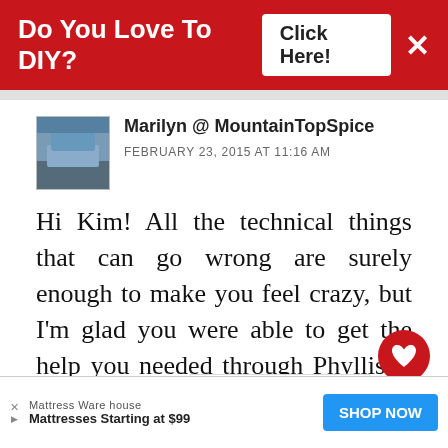Do You Love To DIY? Click Here!
Marilyn @ MountainTopSpice
FEBRUARY 23, 2015 AT 11:16 AM
Hi Kim! All the technical things that can go wrong are surely enough to make you feel crazy, but I'm glad you were able to get the help you needed through Phyllis! I had a blog through wordpress once too, and found it very cumbersome to maneuver around. For me, blogging is more of an outlet to express myself and share things that we are
Mattress Warehouse Mattresses Starting at $99 SHOP NOW